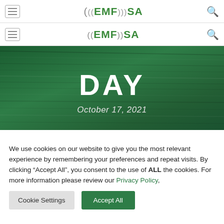((EMF))SA ((EMF))SA — navigation header with menu icons and search icons
[Figure (screenshot): Green banner with wood-textured background showing the word DAY in large bold white letters and the date October 17, 2021 in italic white text below]
DAY
October 17, 2021
We use cookies on our website to give you the most relevant experience by remembering your preferences and repeat visits. By clicking "Accept All", you consent to the use of ALL the cookies. For more information please review our Privacy Policy,
Cookie Settings   Accept All